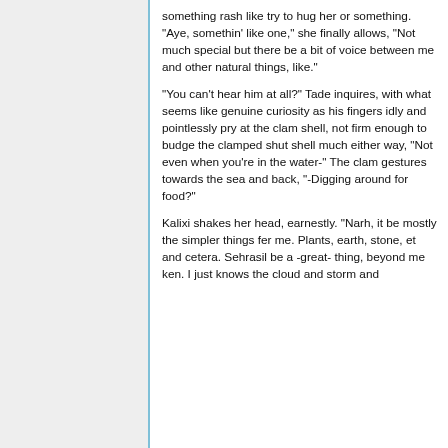something rash like try to hug her or something. "Aye, somethin' like one," she finally allows, "Not much special but there be a bit of voice between me and other natural things, like."
"You can't hear him at all?" Tade inquires, with what seems like genuine curiosity as his fingers idly and pointlessly pry at the clam shell, not firm enough to budge the clamped shut shell much either way, "Not even when you're in the water-" The clam gestures towards the sea and back, "-Digging around for food?"
Kalixi shakes her head, earnestly. "Narh, it be mostly the simpler things fer me. Plants, earth, stone, et and cetera. Sehrasil be a -great- thing, beyond me ken. I just knows the cloud and storm and...